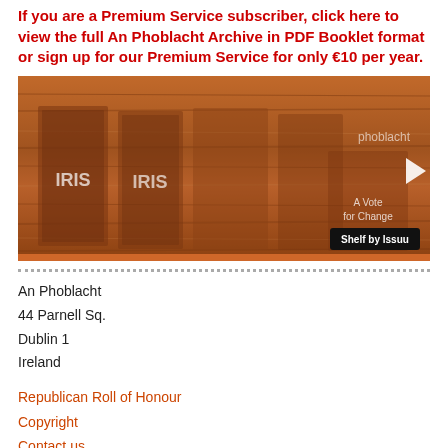If you are a Premium Service subscriber, click here to view the full An Phoblacht Archive in PDF Booklet format or sign up for our Premium Service for only €10 per year.
[Figure (screenshot): An Phoblacht archive PDF booklet shelf viewer (Issuu embed) with wooden bookshelf background showing multiple magazine covers including 'Iris' and 'A Vote for Change'. A white right-arrow play button is visible on the right side. A black label reads 'Shelf by Issuu' in the bottom right corner.]
An Phoblacht
44 Parnell Sq.
Dublin 1
Ireland
Republican Roll of Honour
Copyright
Contact us
About us
Polls